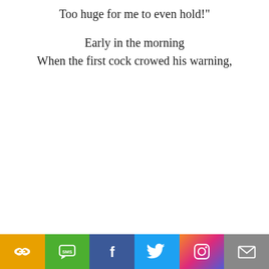Too huge for me to even hold!"

Early in the morning
When the first cock crowed his warning,
Social share bar: Link, SMS, Facebook, Twitter, Instagram, Email